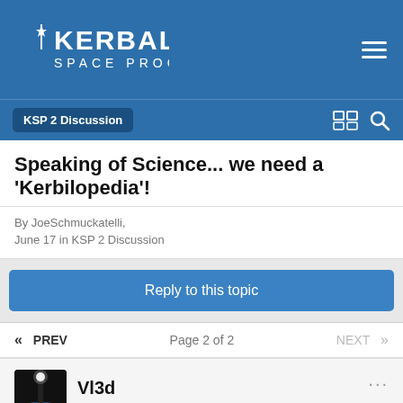Kerbal Space Program
Speaking of Science... we need a 'Kerbilopedia'!
By JoeSchmuckatelli,
June 17 in KSP 2 Discussion
Reply to this topic
« PREV   Page 2 of 2   NEXT »
Vl3d
Posted June 22
Lets just agree that we don't know if the game will have any testing area or simulation mode. And we also don't know about the new science.